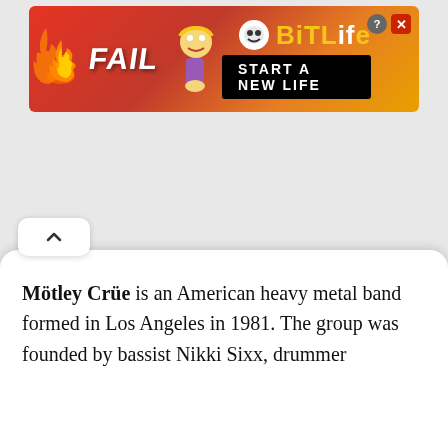[Figure (screenshot): BitLife mobile app advertisement banner with orange-red gradient background, 'FAIL' text on left with cartoon character, BitLife logo on right, and 'START A NEW LIFE' call-to-action button]
[Figure (photo): Mötley Crüe performing on stage. Three band members visible: a blonde singer holding a microphone on the left, a dark-haired bassist in the center, and a guitarist wearing a top hat on the right. Stage has dramatic smoke/fog lighting effects in dark blue and white tones.]
Mötley Crüe is an American heavy metal band formed in Los Angeles in 1981. The group was founded by bassist Nikki Sixx, drummer